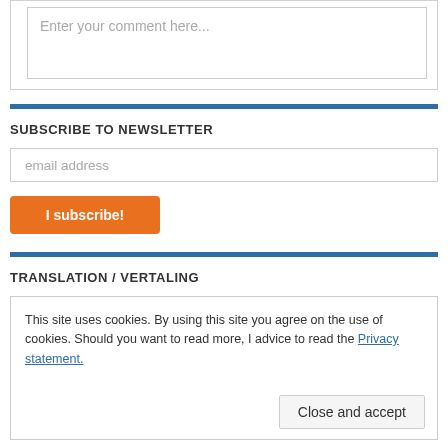Enter your comment here...
SUBSCRIBE TO NEWSLETTER
email address
I subscribe!
TRANSLATION / VERTALING
This site uses cookies. By using this site you agree on the use of cookies. Should you want to read more, I advice to read the Privacy statement.
Close and accept